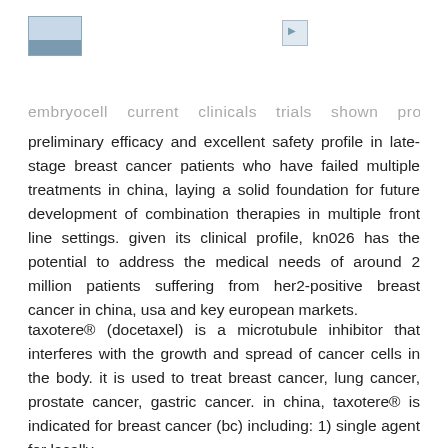[Figure (photo): Small logo/image placeholder top left]
[Figure (photo): Small image placeholder top center]
embryocell current clinicals trials shown promising preliminary efficacy and excellent safety profile in late-stage breast cancer patients who have failed multiple treatments in china, laying a solid foundation for future development of combination therapies in multiple front line settings. given its clinical profile, kn026 has the potential to address the medical needs of around 2 million patients suffering from her2-positive breast cancer in china, usa and key european markets.
taxotere® (docetaxel) is a microtubule inhibitor that interferes with the growth and spread of cancer cells in the body. it is used to treat breast cancer, lung cancer, prostate cancer, gastric cancer. in china, taxotere® is indicated for breast cancer (bc) including: 1) single agent for locally